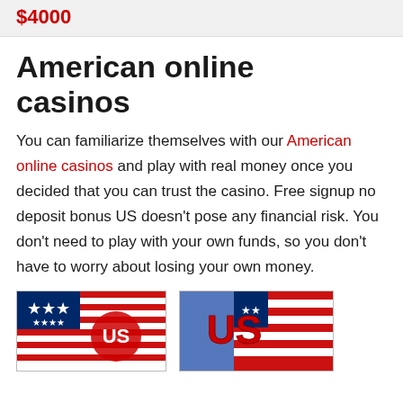$4000
American online casinos
You can familiarize themselves with our American online casinos and play with real money once you decided that you can trust the casino. Free signup no deposit bonus US doesn't pose any financial risk. You don't need to play with your own funds, so you don't have to worry about losing your own money.
[Figure (photo): Two images side by side showing American flag themed casino graphics with US text overlays]
[Figure (photo): American flag themed casino graphic with stylized US lettering in red white and blue]